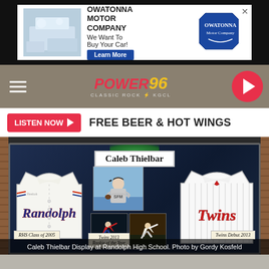[Figure (screenshot): Owatonna Motor Company advertisement banner: photo of people at car dealership, text 'OWATONNA MOTOR COMPANY', tagline 'We Want To Buy Your Car!', blue Learn More button, Owatonna logo on right]
[Figure (logo): Power 96 Classic Rock KGCL radio station logo with hamburger menu on left and play button circle on right]
LISTEN NOW
FREE BEER & HOT WINGS
[Figure (photo): Framed display case at Randolph High School honoring Caleb Thielbar, containing: 'Caleb Thielbar' title plaque, Randolph high school baseball jersey on left, Minnesota Twins pinstripe jersey on right, center photo of Thielbar in baseball gear with arms crossed, two action photos of him pitching. Labels: RHS Class of 2005, Twins 2013 Rookie of the Year, Twins Debut 2013]
Caleb Thielbar Display at Randolph High School. Photo by Gordy Kosfeld